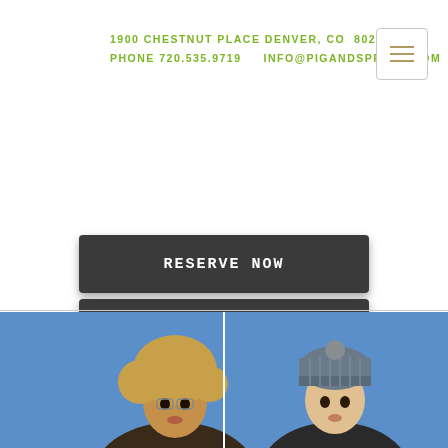1900 CHESTNUT PLACE DENVER, CO  80202
PHONE 720.535.9719     INFO@PIGANDSPROUT.COM
RESERVE NOW
ORDER TAKE OUT
CALL US
GET YOUR GIFT CARD HERE
[Figure (photo): Two people from shoulders up against a blue background: person with curly hair on left, person wearing a grey knit beanie on right, separated by a vertical white line]